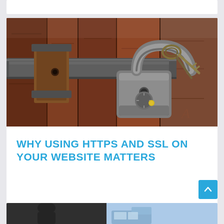[Figure (photo): Photograph of a wooden surface with a metal bolt latch and a padlock with keys attached, in warm reddish-brown tones]
WHY USING HTTPS AND SSL ON YOUR WEBSITE MATTERS
[Figure (photo): Partial photograph visible at the bottom of the page, appears to show people or figures, partially cropped]